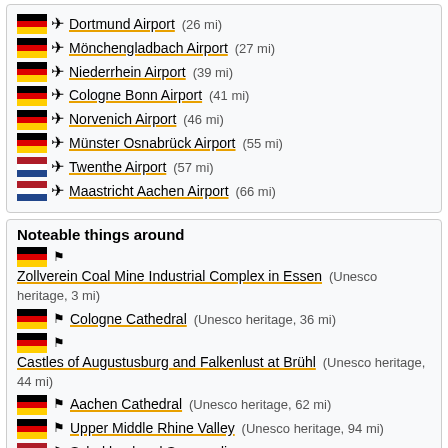Dortmund Airport (26 mi)
Mönchengladbach Airport (27 mi)
Niederrhein Airport (39 mi)
Cologne Bonn Airport (41 mi)
Norvenich Airport (46 mi)
Münster Osnabrück Airport (55 mi)
Twenthe Airport (57 mi)
Maastricht Aachen Airport (66 mi)
Noteable things around
Zollverein Coal Mine Industrial Complex in Essen (Unesco heritage, 3 mi)
Cologne Cathedral (Unesco heritage, 36 mi)
Castles of Augustusburg and Falkenlust at Brühl (Unesco heritage, 44 mi)
Aachen Cathedral (Unesco heritage, 62 mi)
Upper Middle Rhine Valley (Unesco heritage, 94 mi)
Schokland and Surroundings (Unesco heritage, 97 mi)